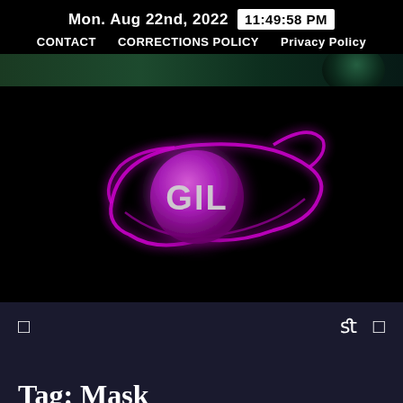Mon. Aug 22nd, 2022   11:49:58 PM   CONTACT   CORRECTIONS POLICY   Privacy Policy
[Figure (illustration): Dark green banner strip with circular gradient element on the right]
[Figure (logo): GIL logo — purple neon glowing wing/eye shape with a purple glowing sphere in the center bearing the white text 'GIL', on a black background]
□   fl □
Tag: Mask